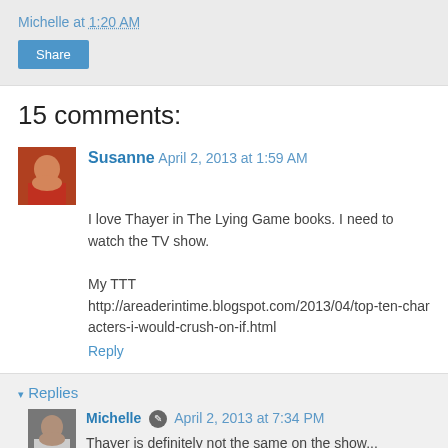Michelle at 1:20 AM
Share
15 comments:
Susanne April 2, 2013 at 1:59 AM
I love Thayer in The Lying Game books. I need to watch the TV show.

My TTT
http://areaderintime.blogspot.com/2013/04/top-ten-characters-i-would-crush-on-if.html
Reply
▾ Replies
Michelle April 2, 2013 at 7:34 PM
Thayer is definitely not the same on the show... it's weird but Ethan is the one I like on tv, but in